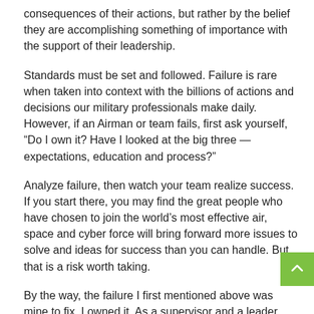consequences of their actions, but rather by the belief they are accomplishing something of importance with the support of their leadership.
Standards must be set and followed. Failure is rare when taken into context with the billions of actions and decisions our military professionals make daily. However, if an Airman or team fails, first ask yourself, “Do I own it? Have I looked at the big three — expectations, education and process?”
Analyze failure, then watch your team realize success. If you start there, you may find the great people who have chosen to join the world’s most effective air, space and cyber force will bring forward more issues to solve and ideas for success than you can handle. But that is a risk worth taking.
By the way, the failure I first mentioned above was mine to fix. I owned it. As a supervisor and a leader, will you?
EDITOR'S NOTE: The views expressed in this article are those of the author and do not necessarily reflect the official policy or position